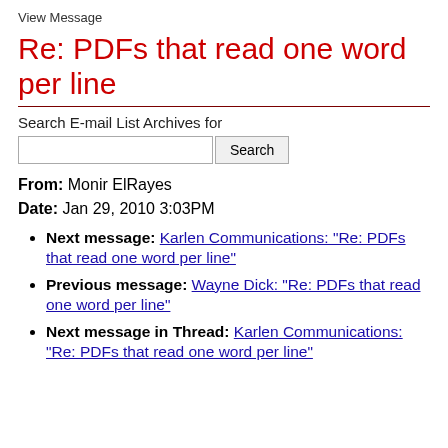View Message
Re: PDFs that read one word per line
Search E-mail List Archives for
From: Monir ElRayes
Date: Jan 29, 2010 3:03PM
Next message: Karlen Communications: "Re: PDFs that read one word per line"
Previous message: Wayne Dick: "Re: PDFs that read one word per line"
Next message in Thread: Karlen Communications: "Re: PDFs that read one word per line"